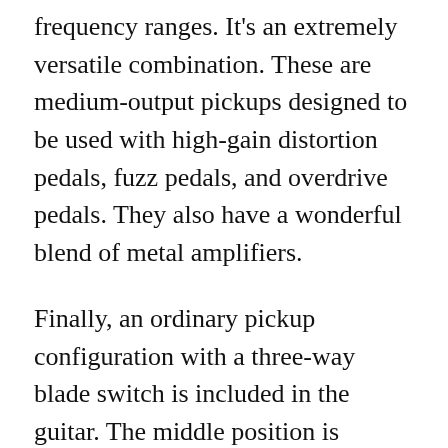frequency ranges. It's an extremely versatile combination. These are medium-output pickups designed to be used with high-gain distortion pedals, fuzz pedals, and overdrive pedals. They also have a wonderful blend of metal amplifiers.
Finally, an ordinary pickup configuration with a three-way blade switch is included in the guitar. The middle position is perfect for rhythm playing, and the neck and bridge pickups are great for leads.
Sound